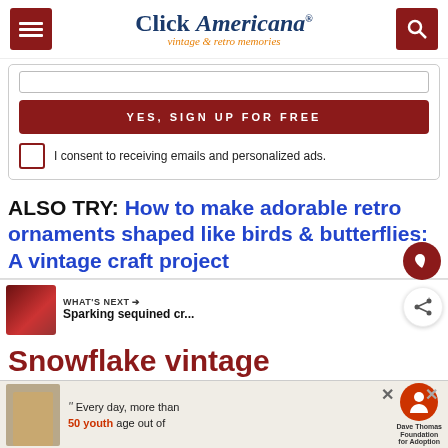Click Americana — vintage & retro memories
YES, SIGN UP FOR FREE
I consent to receiving emails and personalized ads.
ALSO TRY: How to make adorable retro ornaments shaped like birds & butterflies: A vintage craft project
WHAT'S NEXT → Sparking sequined cr...
Snowflake vintage diagrams and craft how-to
[Figure (screenshot): Dave Thomas Foundation for Adoption advertisement showing a person and donation text about youth aging out of foster care]